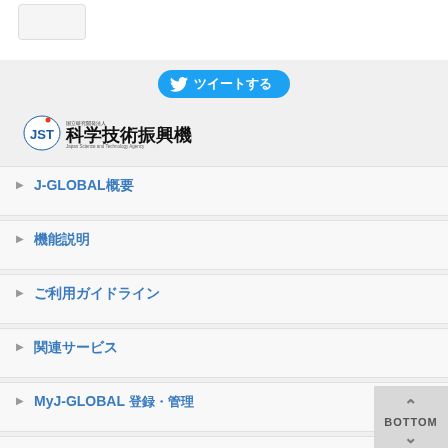[Figure (logo): JST (Japan Science and Technology Agency) logo with Japanese text 国立研究開発法人 科学技術振興機構]
▶ J-GLOBAL概要
▶ 機能説明
▶ ご利用ガイドライン
▶ 関連サービス
▶ MyJ-GLOBAL 登録・管理
▶ ご意見・お問い合わせ
〒XXX XX XX XX XXXXXXX XX XXXXXXX XXXX XX XX XXXXXX